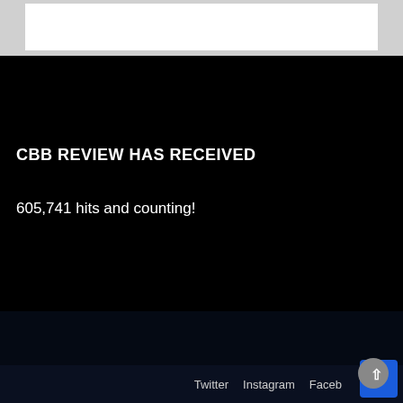CBB REVIEW HAS RECEIVED
605,741 hits and counting!
Twitter   Instagram   Facebook